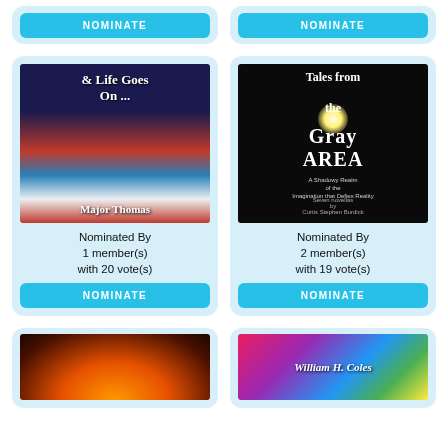[Figure (other): Top-left book card (partial) with NOMINATE button]
[Figure (other): Top-right book card (partial) with NOMINATE button]
[Figure (photo): Book cover: '& Life Goes On...' by Major Thomas - shows an American flag and face overlay on dark background]
Nominated By
1 member(s)
with 20 vote(s)
NOMINATE
[Figure (photo): Book cover: 'Tales from the Gray Area - A Shadowy Realm of the Imagination that Defies Reality' Seven novellas by Curtis Stephen Burdick - dark cover with lantern]
Nominated By
2 member(s)
with 19 vote(s)
NOMINATE
[Figure (photo): Partial book cover showing fire/explosion with orange and dark tones]
[Figure (photo): Partial book cover with colorful text 'William H. Coles']